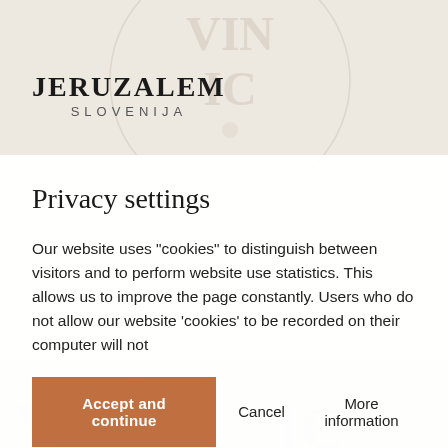[Figure (logo): Jeruzalem Slovenija wine brand logo with watermark circle in background]
Privacy settings
Our website uses "cookies" to distinguish between visitors and to perform website use statistics. This allows us to improve the page constantly. Users who do not allow our website 'cookies' to be recorded on their computer will not
Accept and continue
Cancel
More information